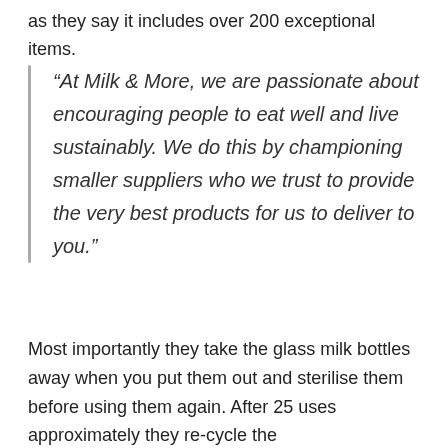as they say it includes over 200 exceptional items.
“At Milk & More, we are passionate about encouraging people to eat well and live sustainably. We do this by championing smaller suppliers who we trust to provide the very best products for us to deliver to you.”
Most importantly they take the glass milk bottles away when you put them out and sterilise them before using them again. After 25 uses approximately they re-cycle the